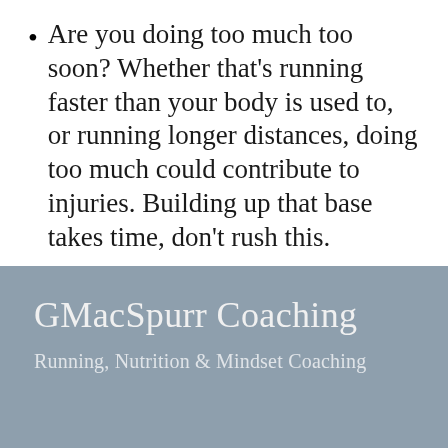Are you doing too much too soon? Whether that's running faster than your body is used to, or running longer distances, doing too much could contribute to injuries. Building up that base takes time, don't rush this.
This isn't an exhaustive list, but something to start thinking about if/when you get injured.
GMacSpurr Coaching
Running, Nutrition & Mindset Coaching